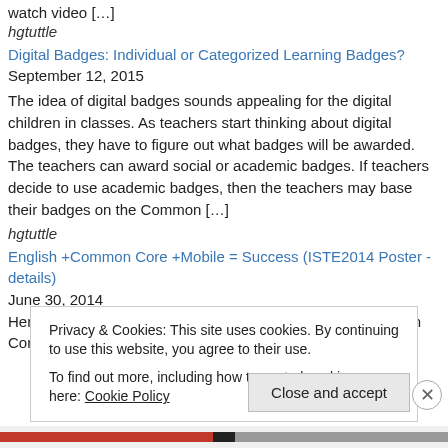watch video […]
hgtuttle
Digital Badges: Individual or Categorized Learning Badges? September 12, 2015
The idea of digital badges sounds appealing for the digital children in classes. As teachers start thinking about digital badges, they have to figure out what badges will be awarded. The teachers can award social or academic badges. If teachers decide to use academic badges, then the teachers may base their badges on the Common […]
hgtuttle
English +Common Core +Mobile = Success (ISTE2014 Poster -details) June 30, 2014
Here are the ten examples I showed at my English + Common Core +
Privacy & Cookies: This site uses cookies. By continuing to use this website, you agree to their use.
To find out more, including how to control cookies, see here: Cookie Policy
Close and accept